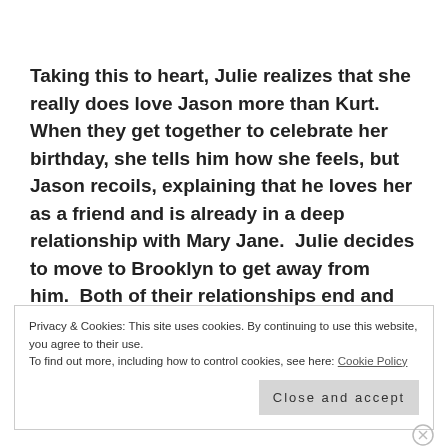Taking this to heart, Julie realizes that she really does love Jason more than Kurt.  When they get together to celebrate her birthday, she tells him how she feels, but Jason recoils, explaining that he loves her as a friend and is already in a deep relationship with Mary Jane.  Julie decides to move to Brooklyn to get away from him.  Both of their relationships end and Jason then realizes that he actually loves Julie, too.  It ends with
Privacy & Cookies: This site uses cookies. By continuing to use this website, you agree to their use.
To find out more, including how to control cookies, see here: Cookie Policy
Close and accept